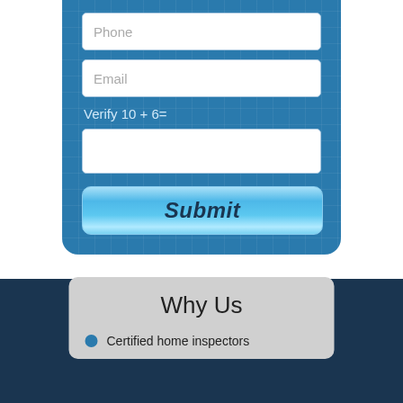[Figure (screenshot): A web contact form UI with blue grid background, showing Phone and Email input fields, a Verify 10 + 6= CAPTCHA field, and a Submit button with blue gradient styling.]
Why Us
Certified home inspectors